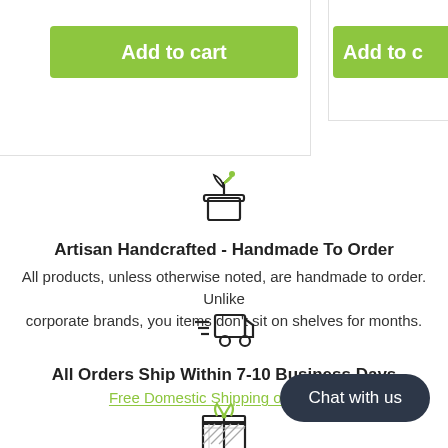[Figure (illustration): Green 'Add to cart' button on left card]
[Figure (illustration): Partially visible 'Add to c...' green button on right card]
[Figure (illustration): Plant/seedling in pot icon (line art, with green leaf)]
Artisan Handcrafted - Handmade To Order
All products, unless otherwise noted, are handmade to order. Unlike corporate brands, you items don't sit on shelves for months.
[Figure (illustration): Delivery truck icon with speed lines (line art)]
All Orders Ship Within 7-10 Business Days
Free Domestic Shipping on All Ord...
[Figure (illustration): Gift box with bow icon (line art, green bow)]
Chat with us